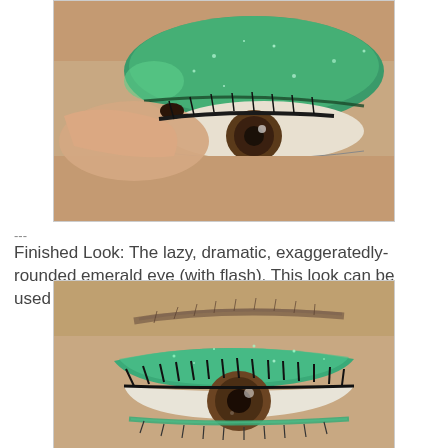[Figure (photo): Close-up photo of a person applying false eyelashes to an eye that has bright glittery emerald green eyeshadow covering the entire lid and brow bone. Fingers with dark nail polish are holding the lash strip.]
---
Finished Look: The lazy, dramatic, exaggeratedly-rounded emerald eye (with flash). This look can be used for both double and monolids.
[Figure (photo): Close-up photo of a finished eye makeup look: a person's eye with glittery emerald green eyeshadow applied in a rounded shape on the lid and lower lash line, with voluminous black mascara/false lashes, and a brown iris visible.]